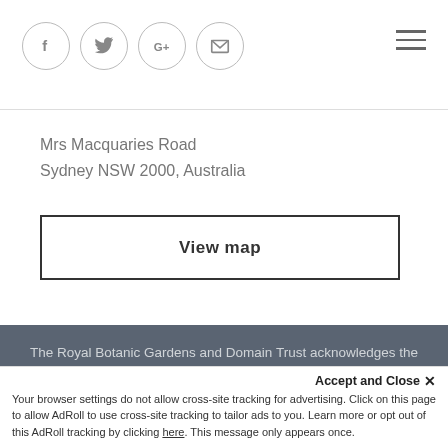[Figure (other): Social media share icons: Facebook (f), Twitter (bird), Google+ (G+), Email (envelope), plus hamburger menu icon on the right]
Mrs Macquaries Road
Sydney NSW 2000, Australia
View map
The Royal Botanic Gardens and Domain Trust acknowledges the Traditional Owners of Country throughout Australia and their custodianship and connection with land, sea and sky. We pay our respects to all Aboriginal and Torres Strait Islander cultures, to the
Accept and Close ✕
Your browser settings do not allow cross-site tracking for advertising. Click on this page to allow AdRoll to use cross-site tracking to tailor ads to you. Learn more or opt out of this AdRoll tracking by clicking here. This message only appears once.